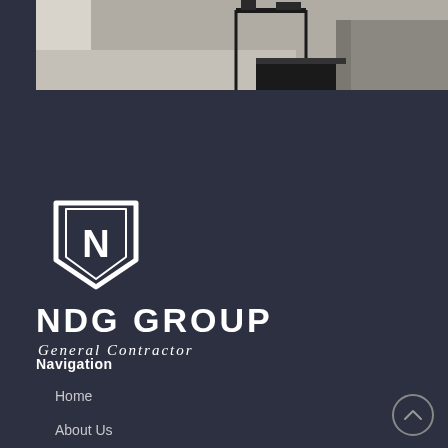[Figure (photo): Interior room photo showing a concrete or light-colored floor, dark rug, dark metal table legs, and a beige/gray sofa in the background]
[Figure (logo): NDG Group shield logo — a white outlined shield shape with the letter N inside, above the text NDG GROUP General Contractor]
NDG GROUP
General Contractor
Navigation
Home
About Us